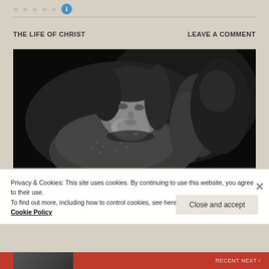★ ★ ★ ★ ★ ℹ
THE LIFE OF CHRIST
LEAVE A COMMENT
[Figure (photo): Black and white photograph of a woman with long dark hair, bowing her head with her hands clasped near her face, appearing to be in prayer or deep thought. Dark background.]
Privacy & Cookies: This site uses cookies. By continuing to use this website, you agree to their use.
To find out more, including how to control cookies, see here:
Cookie Policy
Close and accept